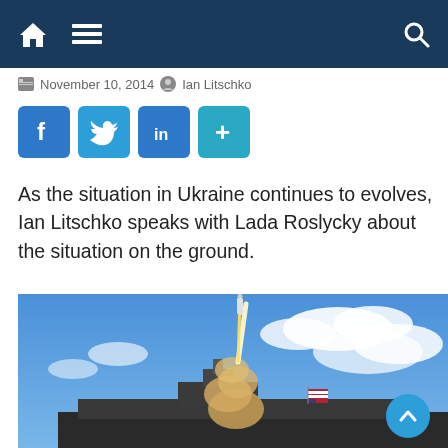Navigation bar with home, menu, and search icons
November 10, 2014   Ian Litschko
[Figure (other): Social media share buttons: Facebook, Twitter, LinkedIn, and more (+)]
As the situation in Ukraine continues to evolves, Ian Litschko speaks with Lada Roslycky about the situation on the ground.
[Figure (photo): A missile launching from a naval warship with blue sky and clouds in the background; an American flag is visible on the ship.]